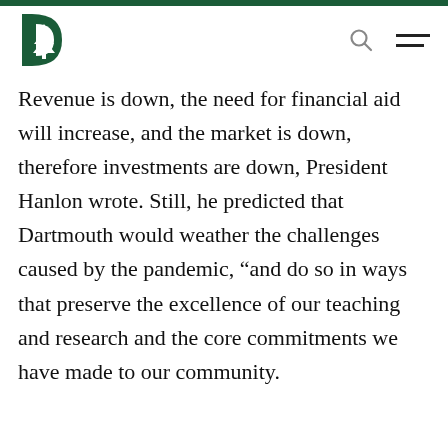Dartmouth logo header with search and menu icons
Revenue is down, the need for financial aid will increase, and the market is down, therefore investments are down, President Hanlon wrote. Still, he predicted that Dartmouth would weather the challenges caused by the pandemic, “and do so in ways that preserve the excellence of our teaching and research and the core commitments we have made to our community.